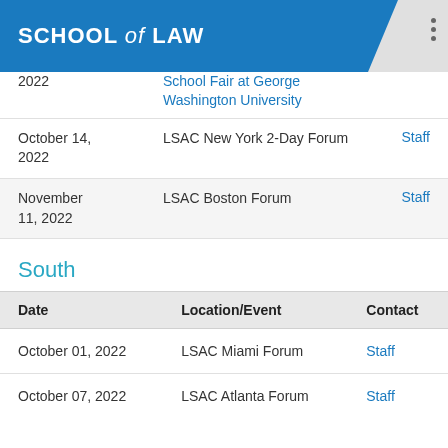SCHOOL of LAW
| Date | Location/Event | Contact |
| --- | --- | --- |
| 2022 | School Fair at George Washington University |  |
| October 14, 2022 | LSAC New York 2-Day Forum | Staff |
| November 11, 2022 | LSAC Boston Forum | Staff |
South
| Date | Location/Event | Contact |
| --- | --- | --- |
| October 01, 2022 | LSAC Miami Forum | Staff |
| October 07, 2022 | LSAC Atlanta Forum | Staff |